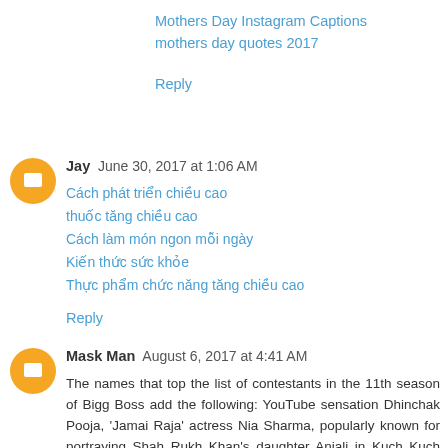Mothers Day Instagram Captions
mothers day quotes 2017
Reply
Jay  June 30, 2017 at 1:06 AM
Cách phát triển chiều cao
thuốc tăng chiều cao
Cách làm món ngon mỗi ngày
Kiến thức sức khỏe
Thực phẩm chức năng tăng chiều cao
Reply
Mask Man  August 6, 2017 at 4:41 AM
The names that top the list of contestants in the 11th season of Bigg Boss add the following: YouTube sensation Dhinchak Pooja, 'Jamai Raja' actress Nia Sharma, popularly known for portraying Shah Rukh Khan's daughter Anjali in Kuch Kuch Hotai Hai - Sana Saeed, popular TV and theatre actress Achint Kaur/Nagini actress Ren...